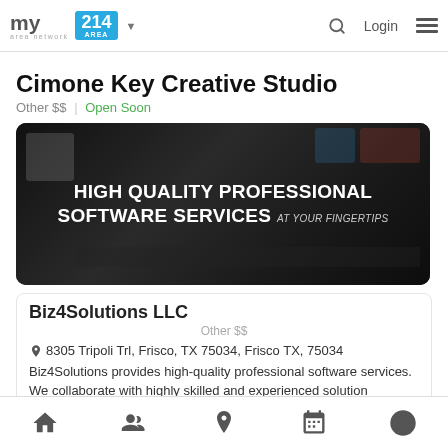my area network | 214 AREA | Login
Cimone Key Creative Studio
Other $$ | Open Soon
[Figure (screenshot): Dark banner image with text: HIGH QUALITY PROFESSIONAL SOFTWARE SERVICES at your fingertips]
Biz4Solutions LLC
Other $$
8305 Tripoli Trl, Frisco, TX 75034, Frisco TX, 75034
Biz4Solutions provides high-quality professional software services. We collaborate with highly skilled and experienced solution
Home | People | Location | Calendar | Profile